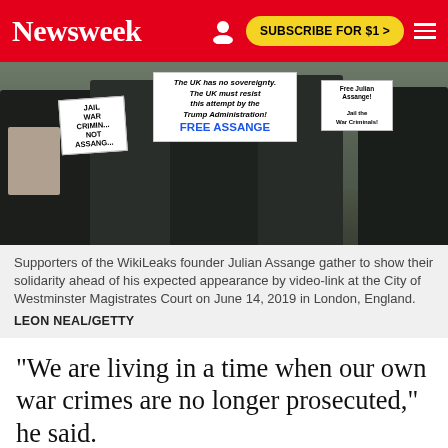Newsweek | SUBSCRIBE FOR $1 >
[Figure (photo): Protesters holding signs including 'FREE ASSANGE' and 'The UK has no sovereignty. The UK must resist this attempt by the Trump Administration! FREE ASSANGE' outside a building.]
Supporters of the WikiLeaks founder Julian Assange gather to show their solidarity ahead of his expected appearance by video-link at the City of Westminster Magistrates Court on June 14, 2019 in London, England.
LEON NEAL/GETTY
"We are living in a time when our own war crimes are no longer prosecuted," he said.
"175 years for whatever they are accusing Mr.